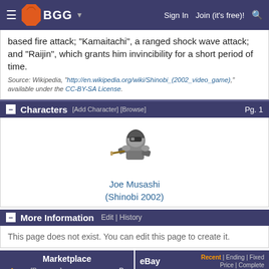BGG — Sign In | Join (it's free)!
based fire attack; "Kamaitachi", a ranged shock wave attack; and "Raijin", which grants him invincibility for a short period of time.
Source: Wikipedia, "http://en.wikipedia.org/wiki/Shinobi_(2002_video_game)," available under the CC-BY-SA License.
Characters [Add Character] [Browse] Pg. 1
[Figure (illustration): Pixel art image of Joe Musashi, a ninja character from Shinobi 2002]
Joe Musashi
(Shinobi 2002)
More Information  Edit | History
This page does not exist. You can edit this page to create it.
Marketplace
eBay  Recent | Ending | Fixed Price | Complete  Pg. 1